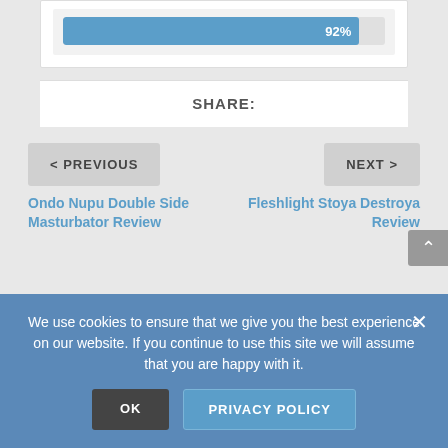[Figure (infographic): A horizontal progress bar showing 92% filled in blue on a light gray background]
SHARE:
< PREVIOUS
NEXT >
Ondo Nupu Double Side Masturbator Review
Fleshlight Stoya Destroya Review
We use cookies to ensure that we give you the best experience on our website. If you continue to use this site we will assume that you are happy with it.
OK
PRIVACY POLICY